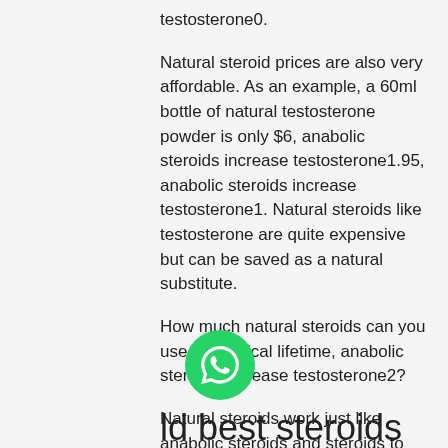testosterone0.
Natural steroid prices are also very affordable. As an example, a 60ml bottle of natural testosterone powder is only $6, anabolic steroids increase testosterone1.95, anabolic steroids increase testosterone1. Natural steroids like testosterone are quite expensive but can be saved as a natural substitute.
How much natural steroids can you use in a typical lifetime, anabolic steroids increase testosterone2?
Natural steroids work just like anabolic steroids and steroids to prevent the symptoms of aging, anabolic steroids increase side effects.
ld best steroids